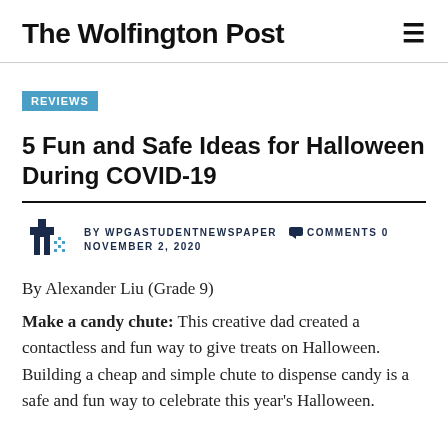The Wolfington Post
REVIEWS
5 Fun and Safe Ideas for Halloween During COVID-19
BY WPGASTUDENTNEWSPAPER   COMMENTS 0   NOVEMBER 2, 2020
By Alexander Liu (Grade 9)
Make a candy chute: This creative dad created a contactless and fun way to give treats on Halloween. Building a cheap and simple chute to dispense candy is a safe and fun way to celebrate this year's Halloween.